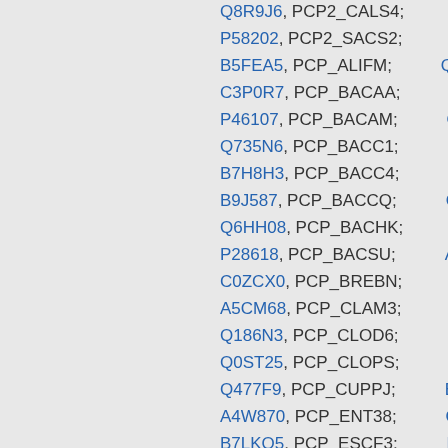Q8R9J6, PCP2_CALS4; Q7M...
P58202, PCP2_SACS2; Q97N...
B5FEA5, PCP_ALIFM; Q9K6...
C3P0R7, PCP_BACAA; C3LD...
P46107, PCP_BACAM; Q81N...
Q735N6, PCP_BACC1; B7IM...
B7H8H3, PCP_BACC4; B7HV...
B9J587, PCP_BACCQ; Q81B...
Q6HH08, PCP_BACHK; Q65F...
P28618, PCP_BACSU; A7Z1...
C0ZCX0, PCP_BREBN; Q7NT...
A5CM68, PCP_CLAM3; B2UZ...
Q186N3, PCP_CLOD6; Q0TC...
Q0ST25, PCP_CLOPS; B5Y5...
Q477F9, PCP_CUPPJ; B2AG...
A4W870, PCP_ENT38; Q838...
B7LKQ5, PCP_ESCF3; B0S4...
Q7NHX6, PCP_GLOVI; B5XZ...
B0W7M8, PCP_LACCP; Q840...